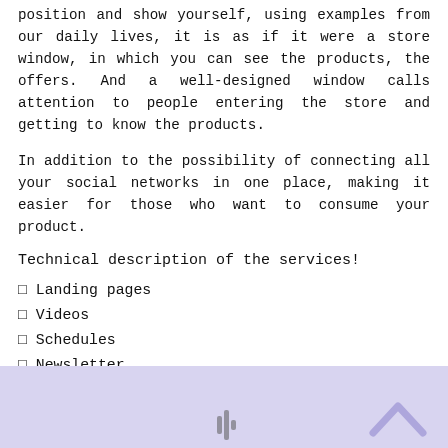position and show yourself, using examples from our daily lives, it is as if it were a store window, in which you can see the products, the offers. And a well-designed window calls attention to people entering the store and getting to know the products.
In addition to the possibility of connecting all your social networks in one place, making it easier for those who want to consume your product.
Technical description of the services!
Landing pages
Videos
Schedules
Newsletter
[Figure (illustration): Light purple/lavender banner at the bottom of the page with a sound/audio wave icon in the center and a caret/arrow-up icon in the lower right corner]